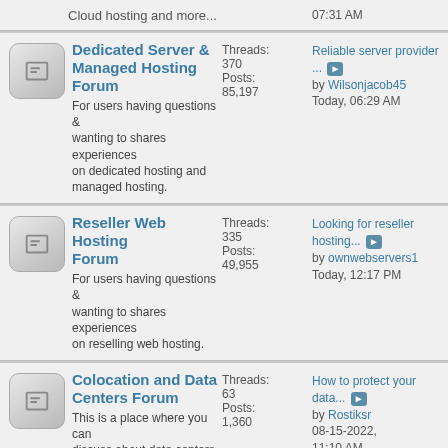Cloud hosting and more... 07:31 AM
Dedicated Server & Managed Hosting Forum - Threads: 370, Posts: 85,197 - Reliable server provider... by Wilsonjacob45 Today, 06:29 AM
Reseller Web Hosting Forum - Threads: 335, Posts: 49,955 - Looking for reseller hosting... by ownwebservers1 Today, 12:17 PM
Colocation and Data Centers Forum - Threads: 63, Posts: 1,360 - How to protect your data... by Rostiksr 08-15-2022, 11:10 AM
Technical Issues & Security - Threads: 714, Posts: 6,263 - What Is Firewall & Its... by Lucifer12 08-05-2022, 12:31 AM